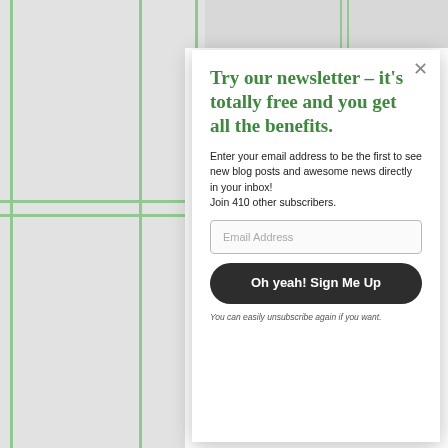[Figure (screenshot): Background showing a grid/table layout with green borders on a light gray background]
Try our newsletter – it's totally free and you get all the benefits.
Enter your email address to be the first to see new blog posts and awesome news directly in your inbox!
Join 410 other subscribers.
Email Address
Oh yeah! Sign Me Up
You can easily unsubscribe again if you want.